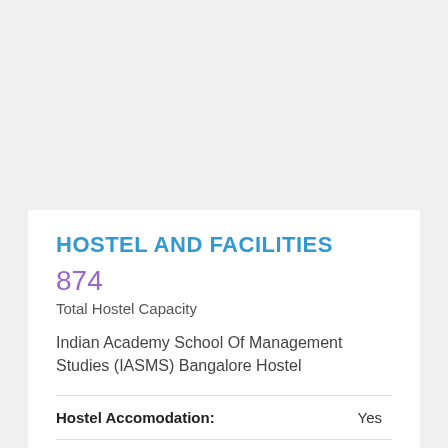HOSTEL AND FACILITIES
874
Total Hostel Capacity
Indian Academy School Of Management Studies (IASMS) Bangalore Hostel
|  |  |
| --- | --- |
| Hostel Accomodation: | Yes |
| Total Hostel Capacity | 45 |
| Total Number of Boys Hostels | 1 |